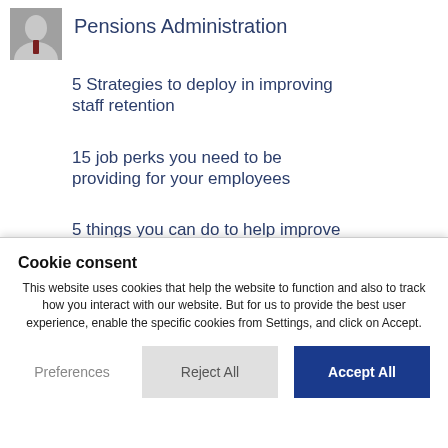[Figure (photo): Headshot photo of a man in a suit and tie]
Pensions Administration
5 Strategies to deploy in improving staff retention
15 job perks you need to be providing for your employees
5 things you can do to help improve your employees' Financial
Cookie consent
This website uses cookies that help the website to function and also to track how you interact with our website. But for us to provide the best user experience, enable the specific cookies from Settings, and click on Accept.
Preferences
Reject All
Accept All